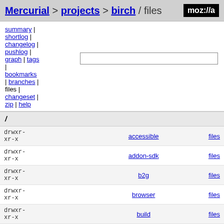Mercurial > projects > birch / files   moz://a
summary | shortlog | changelog | pushlog | graph | tags | bookmarks | branches | files | changeset | zip | help
/
| permissions | name | files |
| --- | --- | --- |
| drwxr-xr-x | accessible | files |
| drwxr-xr-x | addon-sdk | files |
| drwxr-xr-x | b2g | files |
| drwxr-xr-x | browser | files |
| drwxr-xr-x | build | files |
| drwxr-xr-x | caps | files |